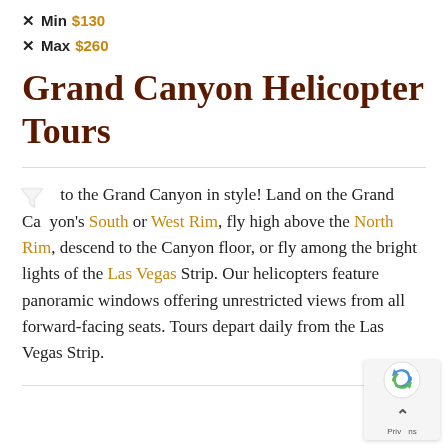✕ Min $130
✕ Max $260
Grand Canyon Helicopter Tours
Soar to the Grand Canyon in style! Land on the Grand Canyon's South or West Rim, fly high above the North Rim, descend to the Canyon floor, or fly among the bright lights of the Las Vegas Strip. Our helicopters feature panoramic windows offering unrestricted views from all forward-facing seats. Tours depart daily from the Las Vegas Strip.
[Figure (other): reCAPTCHA widget with Google logo and scroll-to-top arrow button]